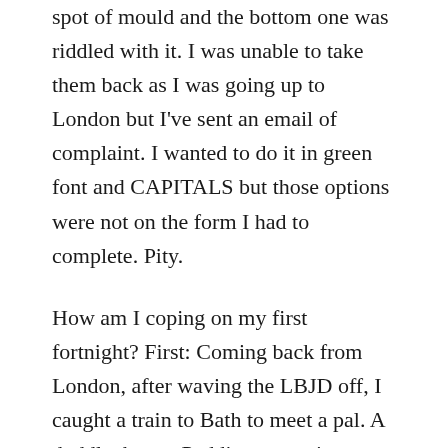spot of mould and the bottom one was riddled with it. I was unable to take them back as I was going up to London but I've sent an email of complaint. I wanted to do it in green font and CAPITALS but those options were not on the form I had to complete. Pity.
How am I coping on my first fortnight? First: Coming back from London, after waving the LBJD off, I caught a train to Bath to meet a pal. A doddle, bus to Paddington, train straight through, a nice relaxing lunch then train to Castle Cary and home. Unfortunately, a Points Failure at Bath meant Delays, which meant I wasn't sure I'd get to the kennels in time to pick up the beasts. It was ok in the end, only half an hour standing on a freezing station platform stressing about a possible train cancellation. Second: the next day, I was mixing